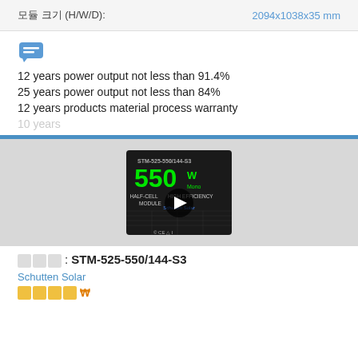| 속성 | 값 |
| --- | --- |
| 모듈 크기 (H/W/D): | 2094x1038x35 mm |
[Figure (other): Speech bubble / message icon in blue]
12 years power output not less than 91.4%
25 years power output not less than 84%
12 years products material process warranty
10 years ... (partially visible/faded)
[Figure (screenshot): Video thumbnail of STM-525-550/144-S3 solar panel product showing 550W Mono, Half-Cell High Efficiency module with play button overlay]
모델명: STM-525-550/144-S3
Schutten Solar
가격정보 (partially visible)